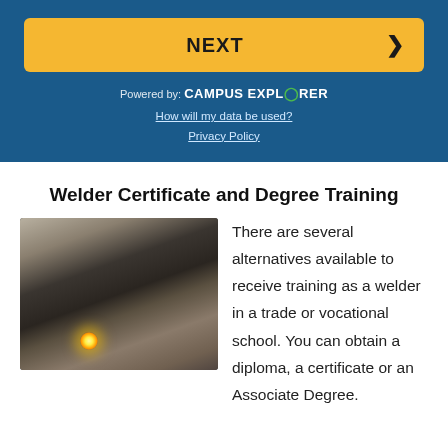[Figure (screenshot): NEXT button (yellow/gold background with bold NEXT text and right arrow chevron) within a blue banner area]
Powered by: CAMPUS EXPLORER
How will my data be used?
Privacy Policy
Welder Certificate and Degree Training
[Figure (photo): A welder in white protective gear and a gray welding mask crouched low welding a large dark pipe, with sparks visible, in a dirt/gravel excavation area.]
There are several alternatives available to receive training as a welder in a trade or vocational school. You can obtain a diploma, a certificate or an Associate Degree.